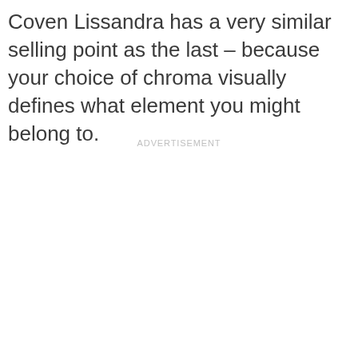Coven Lissandra has a very similar selling point as the last – because your choice of chroma visually defines what element you might belong to.
ADVERTISEMENT